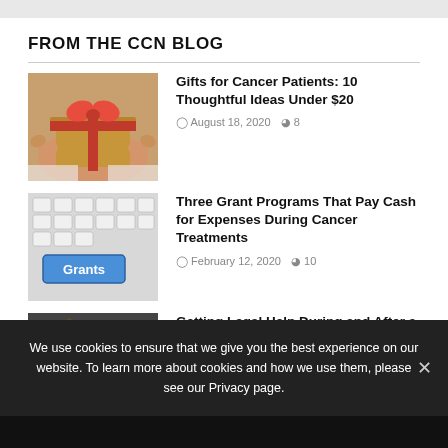FROM THE CCN BLOG
[Figure (photo): Hands holding a wrapped gift with a red ribbon bow]
Gifts for Cancer Patients: 10 Thoughtful Ideas Under $20
August 18, 2020  8
[Figure (photo): Computer keyboard with a blue Grants key highlighted]
Three Grant Programs That Pay Cash for Expenses During Cancer Treatments
February 12, 2020  10
[Figure (photo): Legal items including scales and gavel in dark setting]
Getting Legal Help During and After a Cancer Diagnosis
We use cookies to ensure that we give you the best experience on our website. To learn more about cookies and how we use them, please see our Privacy page.